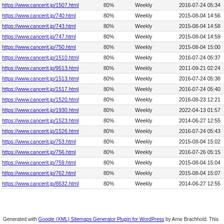| URL | Priority | Change Freq | Last Modified |
| --- | --- | --- | --- |
| https://www.cancerit.jp/1507.html | 80% | Weekly | 2016-07-24 05:34 |
| https://www.cancerit.jp/740.html | 80% | Weekly | 2015-08-04 14:56 |
| https://www.cancerit.jp/743.html | 80% | Weekly | 2015-08-04 14:58 |
| https://www.cancerit.jp/747.html | 80% | Weekly | 2015-08-04 14:59 |
| https://www.cancerit.jp/750.html | 80% | Weekly | 2015-08-04 15:00 |
| https://www.cancerit.jp/1510.html | 80% | Weekly | 2016-07-24 05:37 |
| https://www.cancerit.jp/9513.html | 80% | Weekly | 2011-09-21 02:24 |
| https://www.cancerit.jp/1513.html | 80% | Weekly | 2016-07-24 05:38 |
| https://www.cancerit.jp/1517.html | 80% | Weekly | 2016-07-24 05:40 |
| https://www.cancerit.jp/1520.html | 80% | Weekly | 2016-08-23 12:21 |
| https://www.cancerit.jp/1930.html | 80% | Weekly | 2022-04-13 01:57 |
| https://www.cancerit.jp/1523.html | 80% | Weekly | 2014-06-27 12:55 |
| https://www.cancerit.jp/1526.html | 80% | Weekly | 2016-07-24 05:43 |
| https://www.cancerit.jp/753.html | 80% | Weekly | 2015-08-04 15:02 |
| https://www.cancerit.jp/756.html | 80% | Weekly | 2016-07-26 05:15 |
| https://www.cancerit.jp/759.html | 80% | Weekly | 2015-08-04 15:04 |
| https://www.cancerit.jp/762.html | 80% | Weekly | 2015-08-04 15:07 |
| https://www.cancerit.jp/8632.html | 80% | Weekly | 2014-06-27 12:55 |
Generated with Google (XML) Sitemaps Generator Plugin for WordPress by Arne Brachhold. This